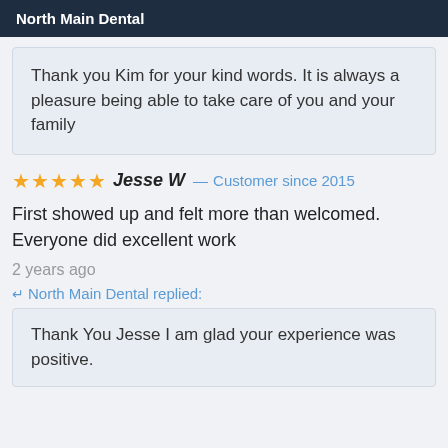North Main Dental
Thank you Kim for your kind words. It is always a pleasure being able to take care of you and your family
★★★★★ Jesse W — Customer since 2015
First showed up and felt more than welcomed. Everyone did excellent work
2 years ago
↵ North Main Dental replied:
Thank You Jesse I am glad your experience was positive.